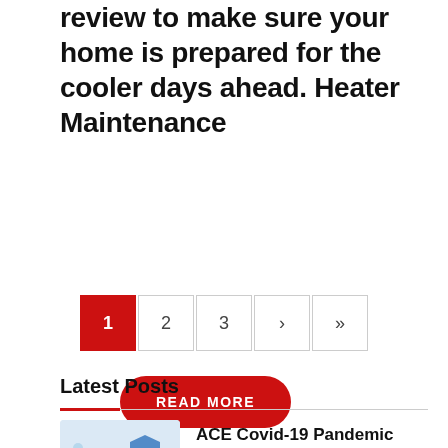review to make sure your home is prepared for the cooler days ahead. Heater Maintenance
READ MORE
1 2 3 › »
Latest Posts
[Figure (illustration): Illustration of a person wearing a mask and washing hands, with hygiene-related icons around them, on a light blue background.]
ACE Covid-19 Pandemic Measures
March 16, 2020